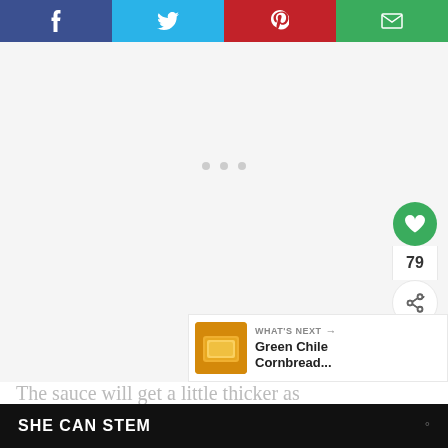[Figure (screenshot): Social share bar with four buttons: Facebook (dark blue), Twitter (light blue), Pinterest (red), Email (green), each showing respective icons in white]
[Figure (screenshot): Light gray content area with three small gray loading dots centered, a green heart/like button showing count 79, and a share button on the right side, plus a 'What's Next' card showing Green Chile Cornbread...]
The sauce will get a little thicker as
SHE CAN STEM